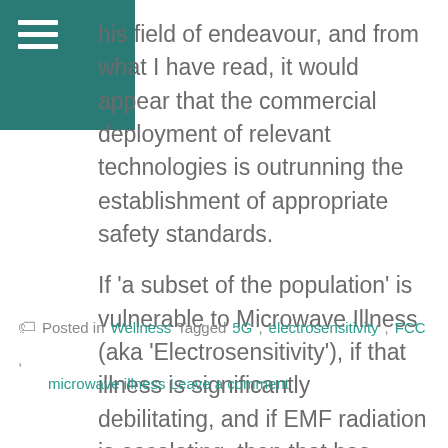his field of endeavour, and from what I have read, it would appear that the commercial deployment of relevant technologies is outrunning the establishment of appropriate safety standards.
If ‘a subset of the population’ is vulnerable to Microwave Illness (aka ‘Electrosensitivity’), if that illness is significantly debilitating, and if EMF radiation is escalating, then that has significant public health policy ramifications. The CHD action serves to direct the attention of responsible government where it is needed.
Posted in Wellness Tagged 5G, electrosensitivity, FCC, microwave illness Leave a comment